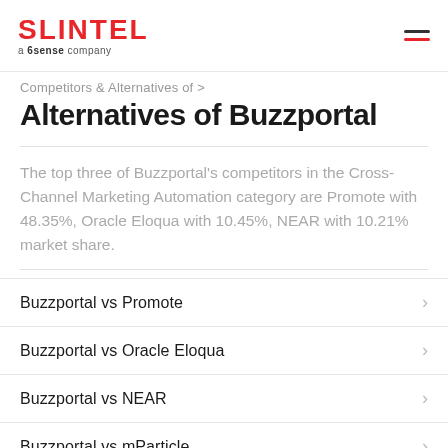SLINTEL a 6sense company
Alternatives of Buzzportal
The top three of Buzzportal's competitors in the Cross-Channel Marketing Automation category are Promote with 48.35%, Oracle Eloqua with 10.45%, NEAR with 10.21% market share.
Buzzportal vs Promote
Buzzportal vs Oracle Eloqua
Buzzportal vs NEAR
Buzzportal vs mParticle